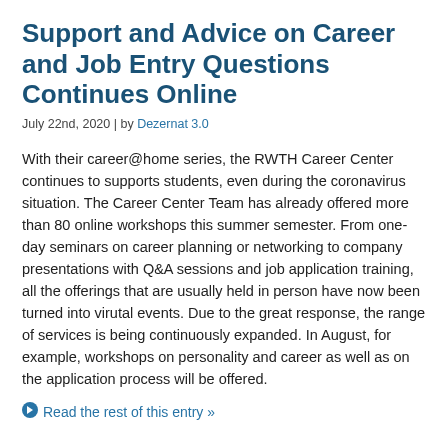Support and Advice on Career and Job Entry Questions Continues Online
July 22nd, 2020 | by Dezernat 3.0
With their career@home series, the RWTH Career Center continues to supports students, even during the coronavirus situation. The Career Center Team has already offered more than 80 online workshops this summer semester. From one-day seminars on career planning or networking to company presentations with Q&A sessions and job application training, all the offerings that are usually held in person have now been turned into virutal events. Due to the great response, the range of services is being continuously expanded. In August, for example, workshops on personality and career as well as on the application process will be offered.
Read the rest of this entry »